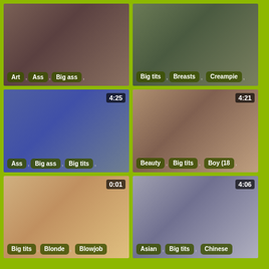[Figure (photo): Video thumbnail grid - top left, no timer shown]
[Figure (photo): Video thumbnail grid - top right, no timer shown]
[Figure (photo): Video thumbnail grid - middle left, timer 4:25]
[Figure (photo): Video thumbnail grid - middle right, timer 4:21]
[Figure (photo): Video thumbnail grid - bottom left, timer 0:01]
[Figure (photo): Video thumbnail grid - bottom right, timer 4:06]